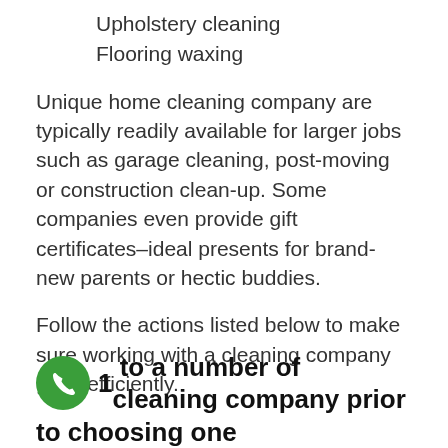Upholstery cleaning
Flooring waxing
Unique home cleaning company are typically readily available for larger jobs such as garage cleaning, post-moving or construction clean-up. Some companies even provide gift certificates–ideal presents for brand-new parents or hectic buddies.
Follow the actions listed below to make sure working with a cleaning company goes efficiently.
1 to a number of cleaning company prior to choosing one